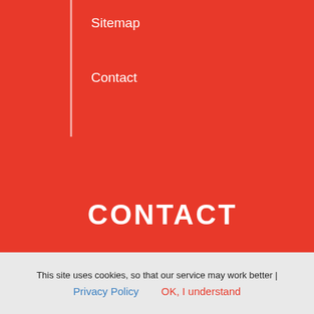Sitemap
Contact
CONTACT
SYSTEMY OCIEPLEŃ
sklep internetowy
ul. Magazynowa 8
85-790 Bydgoszcz
Tel : +48 884-884-744
This site uses cookies, so that our service may work better |
Privacy Policy
OK, I understand